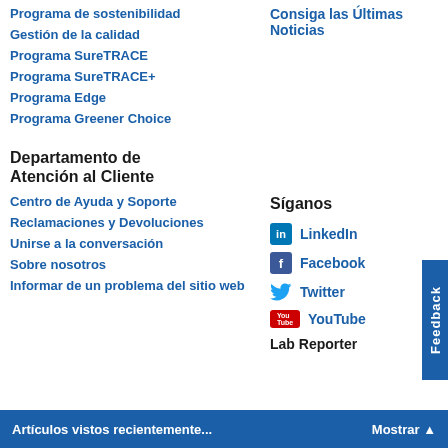Programa de sostenibilidad
Gestión de la calidad
Programa SureTRACE
Programa SureTRACE+
Programa Edge
Programa Greener Choice
Consiga las Últimas Noticias
Departamento de Atención al Cliente
Centro de Ayuda y Soporte
Reclamaciones y Devoluciones
Unirse a la conversación
Sobre nosotros
Informar de un problema del sitio web
Síganos
LinkedIn
Facebook
Twitter
YouTube
Lab Reporter
Artículos vistos recientemente...     Mostrar